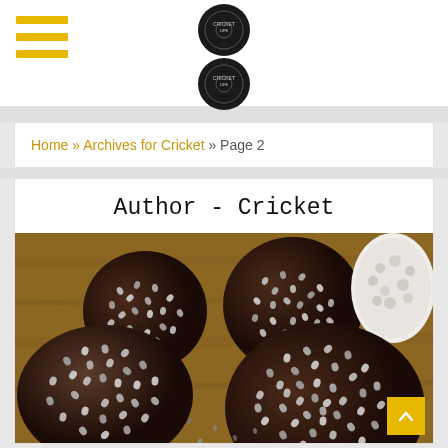Navigation header with hamburger menu and site logo
Home » Archives for Cricket » Page 2
Author - Cricket
[Figure (photo): Chocolate energy balls coated with chia seeds arranged on a wooden board, with a rice cake visible in the background]